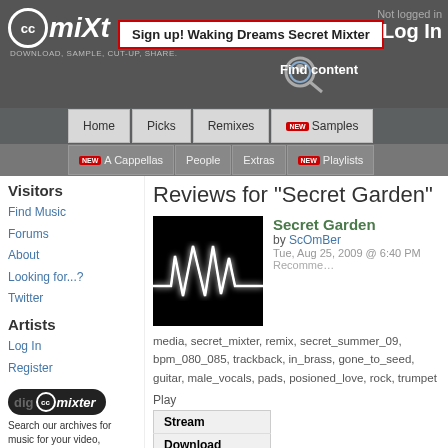ccMixter - Download, Sample, Cut-up, Share.
Sign up! Waking Dreams Secret Mixter
Not logged in Log In
Find content
Home | Picks | Remixes | NEW Samples | NEW A Cappellas | People | Extras | NEW Playlists
Visitors
Find Music
Forums
About
Looking for...?
Twitter
Artists
Log In
Register
[Figure (logo): dig ccMixter logo]
Search our archives for music for your video, podcast or school project at dig.ccMixter
Support ccMixter
[Figure (logo): ccMixter logo]
Editors' Picks
Reviews for "Secret Garden"
[Figure (photo): Album art for Secret Garden - black background with white glowing waveform]
Secret Garden
by ScOmBer
Tue, Aug 25, 2009 @ 6:40 PM
Recommend
media, secret_mixter, remix, secret_summer_09, bpm_080_085, trackback, in_brass, gone_to_seed, guitar, male_vocals, pads, posioned_love, rock, trumpet
Play
| Stream |
| Download |
| Details |